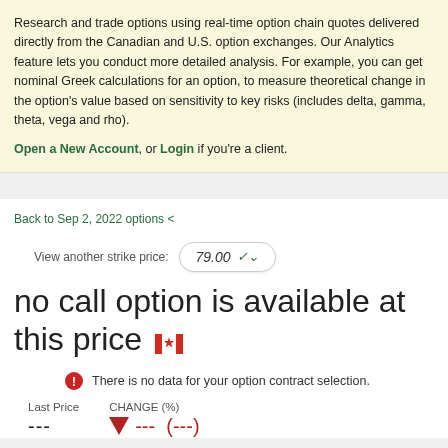Research and trade options using real-time option chain quotes delivered directly from the Canadian and U.S. option exchanges. Our Analytics feature lets you conduct more detailed analysis. For example, you can get nominal Greek calculations for an option, to measure theoretical change in the option's value based on sensitivity to key risks (includes delta, gamma, theta, vega and rho).
Open a New Account, or Login if you're a client.
Back to Sep 2, 2022 options <
View another strike price: 79.00
no call option is available at this price
There is no data for your option contract selection.
Last Price ---
CHANGE (%) --- (---)